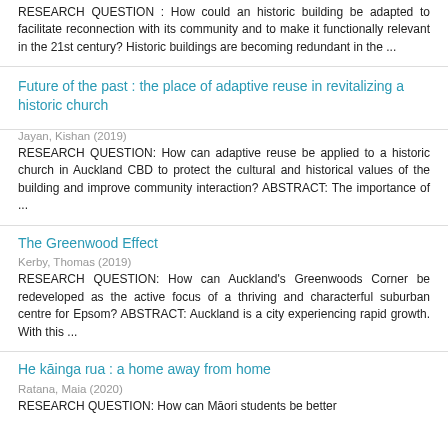RESEARCH QUESTION : How could an historic building be adapted to facilitate reconnection with its community and to make it functionally relevant in the 21st century? Historic buildings are becoming redundant in the ...
Future of the past : the place of adaptive reuse in revitalizing a historic church
Jayan, Kishan (2019)
RESEARCH QUESTION: How can adaptive reuse be applied to a historic church in Auckland CBD to protect the cultural and historical values of the building and improve community interaction? ABSTRACT: The importance of ...
The Greenwood Effect
Kerby, Thomas (2019)
RESEARCH QUESTION: How can Auckland's Greenwoods Corner be redeveloped as the active focus of a thriving and characterful suburban centre for Epsom? ABSTRACT: Auckland is a city experiencing rapid growth. With this ...
He kāinga rua : a home away from home
Ratana, Maia (2020)
RESEARCH QUESTION: How can Māori students be better